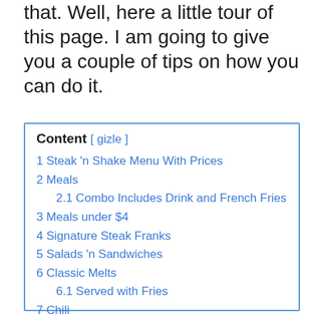that. Well, here a little tour of this page. I am going to give you a couple of tips on how you can do it.
1 Steak 'n Shake Menu With Prices
2 Meals
2.1 Combo Includes Drink and French Fries
3 Meals under $4
4 Signature Steak Franks
5 Salads 'n Sandwiches
6 Classic Melts
6.1 Served with Fries
7 Chili